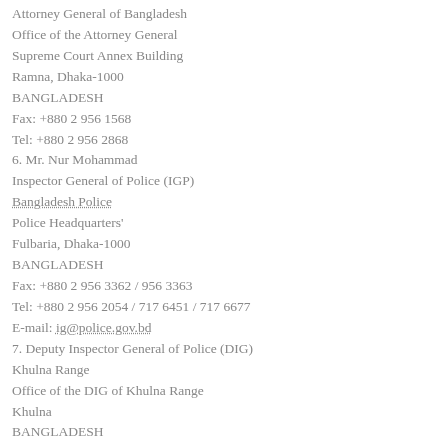Attorney General of Bangladesh
Office of the Attorney General
Supreme Court Annex Building
Ramna, Dhaka-1000
BANGLADESH
Fax: +880 2 956 1568
Tel: +880 2 956 2868
6. Mr. Nur Mohammad
Inspector General of Police (IGP)
Bangladesh Police
Police Headquarters'
Fulbaria, Dhaka-1000
BANGLADESH
Fax: +880 2 956 3362 / 956 3363
Tel: +880 2 956 2054 / 717 6451 / 717 6677
E-mail: ig@police.gov.bd
7. Deputy Inspector General of Police (DIG)
Khulna Range
Office of the DIG of Khulna Range
Khulna
BANGLADESH
Fax: +880 41 761300